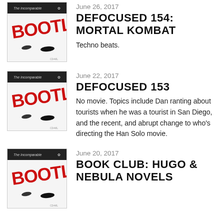[Figure (illustration): Bootleg cassette tape artwork with red graffiti-style 'BOOTLEG' text on white/grey background, The Incomparable logo at top]
June 26, 2017
DEFOCUSED 154: MORTAL KOMBAT
Techno beats.
[Figure (illustration): Bootleg cassette tape artwork with red graffiti-style 'BOOTLEG' text on white/grey background, The Incomparable logo at top]
June 22, 2017
DEFOCUSED 153
No movie. Topics include Dan ranting about tourists when he was a tourist in San Diego, and the recent, and abrupt change to who’s directing the Han Solo movie.
[Figure (illustration): Bootleg cassette tape artwork with red graffiti-style 'BOOTLEG' text on white/grey background, The Incomparable logo at top]
June 20, 2017
BOOK CLUB: HUGO & NEBULA NOVELS